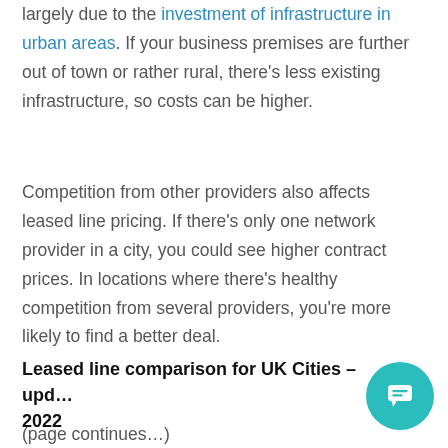largely due to the investment of infrastructure in urban areas. If your business premises are further out of town or rather rural, there's less existing infrastructure, so costs can be higher.
Competition from other providers also affects leased line pricing. If there's only one network provider in a city, you could see higher contract prices. In locations where there's healthy competition from several providers, you're more likely to find a better deal.
Leased line comparison for UK Cities – upd… 2022
(truncated/cut off at bottom)